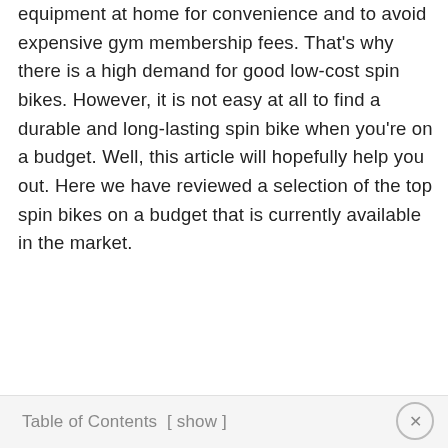equipment at home for convenience and to avoid expensive gym membership fees. That's why there is a high demand for good low-cost spin bikes. However, it is not easy at all to find a durable and long-lasting spin bike when you're on a budget. Well, this article will hopefully help you out. Here we have reviewed a selection of the top spin bikes on a budget that is currently available in the market.
Table of Contents [ show ]